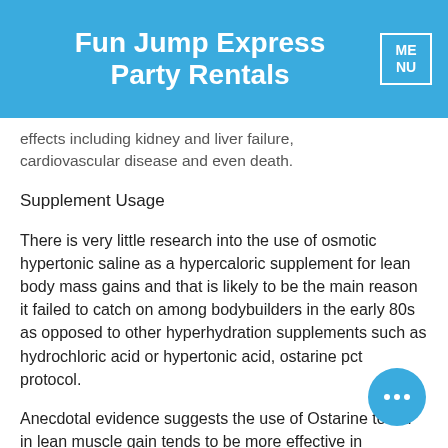Fun Jump Express Party Rentals
effects including kidney and liver failure, cardiovascular disease and even death.
Supplement Usage
There is very little research into the use of osmotic hypertonic saline as a hypercaloric supplement for lean body mass gains and that is likely to be the main reason it failed to catch on among bodybuilders in the early 80s as opposed to other hyperhydration supplements such as hydrochloric acid or hypertonic acid, ostarine pct protocol.
Anecdotal evidence suggests the use of Ostarine to aid in lean muscle gain tends to be more effective in enhancing LBM than other hyperchloric and hydrochloric acid supplements.